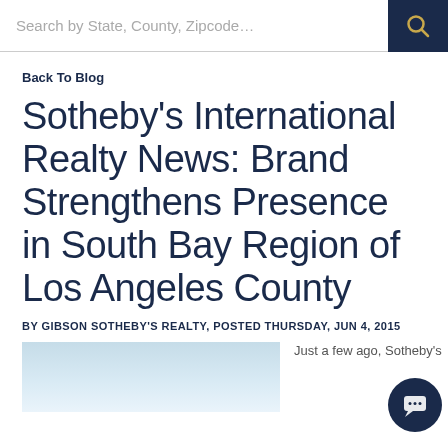Search by State, County, Zipcode…
Back To Blog
Sotheby's International Realty News: Brand Strengthens Presence in South Bay Region of Los Angeles County
BY GIBSON SOTHEBY'S REALTY, POSTED THURSDAY, JUN 4, 2015
[Figure (photo): Sky/clouds photo at bottom left]
Just a few ago, Sotheby's